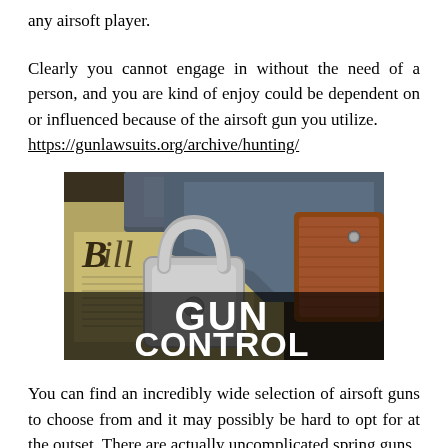any airsoft player.
Clearly you cannot engage in without the need of a person, and you are kind of enjoy could be dependent on or influenced because of the airsoft gun you utilize. https://gunlawsuits.org/archive/hunting/
[Figure (photo): Photo of a handgun with a padlock resting on a document (Bill of Rights), with large text reading 'GUN CONTROL']
You can find an incredibly wide selection of airsoft guns to choose from and it may possibly be hard to opt for at the outset. There are actually uncomplicated spring guns